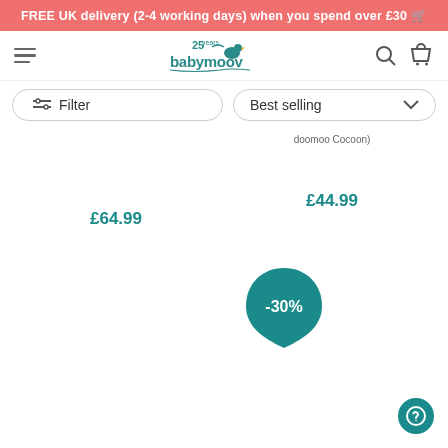FREE UK delivery (2-4 working days) when you spend over £30
[Figure (logo): Babymoov 25 years logo with duck illustration]
Filter
Best selling
doomoo Cocoon)
£64.99
£44.99
[Figure (infographic): Teal discount badge showing -30%]